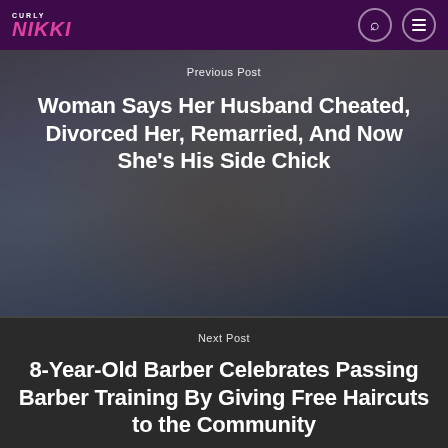CURLY NIKKI
Previous Post
Woman Says Her Husband Cheated, Divorced Her, Remarried, And Now She’s His Side Chick
Next Post
8-Year-Old Barber Celebrates Passing Barber Training By Giving Free Haircuts to the Community